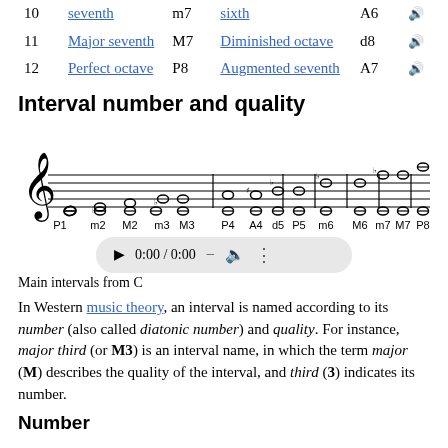|  |  |  |  |  |  |
| --- | --- | --- | --- | --- | --- |
| 10 | seventh | m7 | sixth | A6 | 🔊 |
| 11 | Major seventh | M7 | Diminished octave | d8 | 🔊 |
| 12 | Perfect octave | P8 | Augmented seventh | A7 | 🔊 |
Interval number and quality
[Figure (illustration): Musical staff showing main intervals from C (P1 through P8): P1, m2, M2, m3, M3, P4, A4, d5, P5, m6, M6, m7, M7, P8 with corresponding notation]
Main intervals from C
In Western music theory, an interval is named according to its number (also called diatonic number) and quality. For instance, major third (or M3) is an interval name, in which the term major (M) describes the quality of the interval, and third (3) indicates its number.
Number